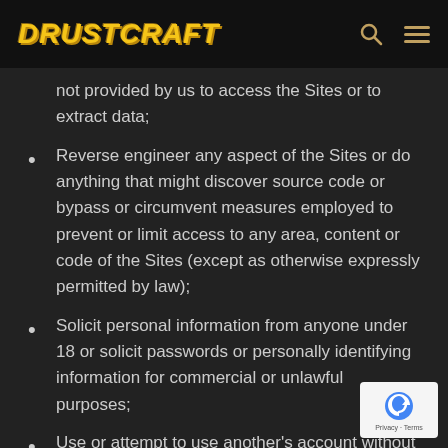DRUSTCRAFT
not provided by us to access the Sites or to extract data;
Reverse engineer any aspect of the Sites or do anything that might discover source code or bypass or circumvent measures employed to prevent or limit access to any area, content or code of the Sites (except as otherwise expressly permitted by law);
Solicit personal information from anyone under 18 or solicit passwords or personally identifying information for commercial or unlawful purposes;
Use or attempt to use another's account without authorization from